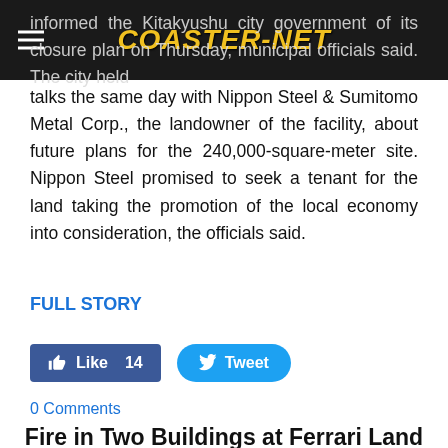COASTER-NET
informed the Kitakyushu city government of its closure plan on Thursday, municipal officials said. The city held talks the same day with Nippon Steel & Sumitomo Metal Corp., the landowner of the facility, about future plans for the 240,000-square-meter site. Nippon Steel promised to seek a tenant for the land taking the promotion of the local economy into consideration, the officials said.
FULL STORY
[Figure (other): Facebook Like button showing 14 likes and Twitter Tweet button]
0 Comments
Fire in Two Buildings at Ferrari Land Spain
12/14/2016